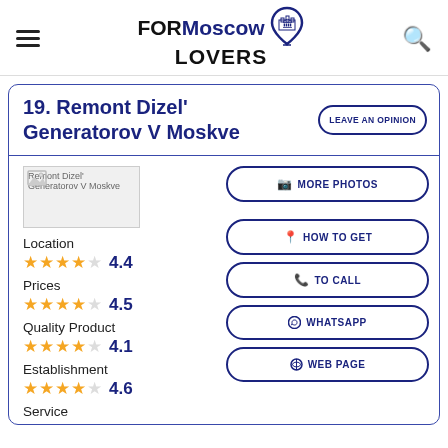FOR Moscow LOVERS
19. Remont Dizel' Generatorov V Moskve
LEAVE AN OPINION
[Figure (photo): Remont Dizel' Generatorov V Moskve thumbnail photo]
MORE PHOTOS
Location
★★★★☆ 4.4
HOW TO GET
Prices
★★★★☆ 4.5
TO CALL
Quality Product
★★★★☆ 4.1
WHATSAPP
Establishment
★★★★☆ 4.6
WEB PAGE
Service